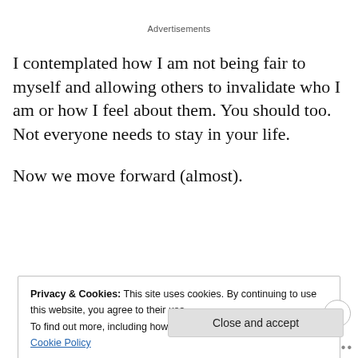Advertisements
I contemplated how I am not being fair to myself and allowing others to invalidate who I am or how I feel about them. You should too. Not everyone needs to stay in your life.
Now we move forward (almost).
Privacy & Cookies: This site uses cookies. By continuing to use this website, you agree to their use.
To find out more, including how to control cookies, see here: Cookie Policy
Close and accept
Follow